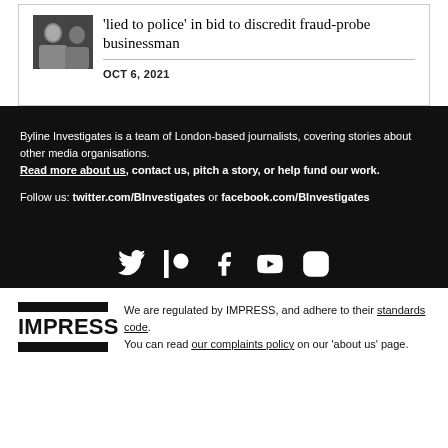'lied to police' in bid to discredit fraud-probe businessman
OCT 6, 2021
Byline Investigates is a team of London-based journalists, covering stories about other media organisations. Read more about us, contact us, pitch a story, or help fund our work.
Follow us: twitter.com/BInvestigates or facebook.com/BInvestigates
[Figure (infographic): Social media icons: Twitter, Patreon, Facebook, YouTube, Instagram]
We are regulated by IMPRESS, and adhere to their standards code. You can read our complaints policy on our 'about us' page.
[Figure (logo): IMPRESS logo with black bars above and below the word IMPRESS]